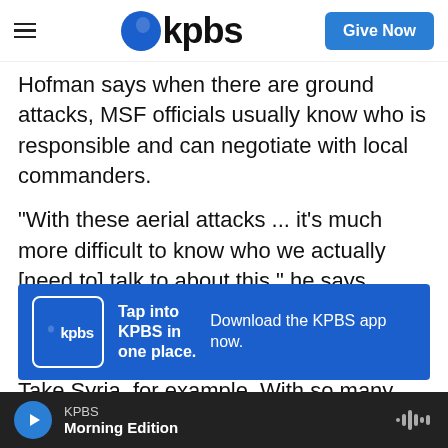KPBS — Give Now
Hofman says when there are ground attacks, MSF officials usually know who is responsible and can negotiate with local commanders.
"With these aerial attacks ... it's much more difficult to know who we actually [need to] talk to about this," he says.
[Figure (infographic): KPBS app advertisement banner: blue background with KPBS logo, text 'Tap into KPBS in one place.' and 'Download the KPBS app now.']
Take Syria, for example. With so many nations involved in the fight, it's hard to know for sure who is responsible for a particular attack. Hofman says
KPBS — Morning Edition (audio player bar)